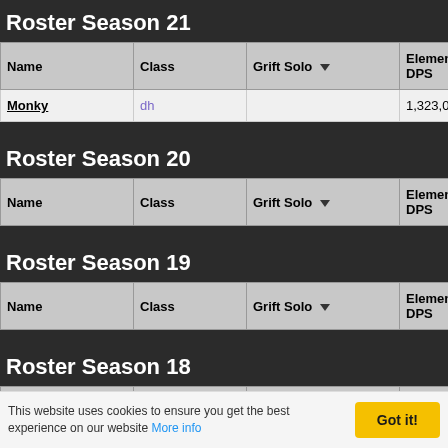Roster Season 21
| Name | Class | Grift Solo ▼ | Elemental DPS |
| --- | --- | --- | --- |
| Monky | dh |  | 1,323,010.00 |
Roster Season 20
| Name | Class | Grift Solo ▼ | Elemental DPS |
| --- | --- | --- | --- |
Roster Season 19
| Name | Class | Grift Solo ▼ | Elemental DPS |
| --- | --- | --- | --- |
Roster Season 18
| Name | Class | Grift Solo ▼ | Elemental DPS |
| --- | --- | --- | --- |
Roster Season 17
This website uses cookies to ensure you get the best experience on our website More info   Got it!